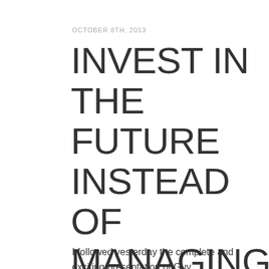OCTOBER 8TH, 2013
INVEST IN THE FUTURE INSTEAD OF MANAGING DEGROWTH
I followed yesterday the complete and exciting presentation of Guy